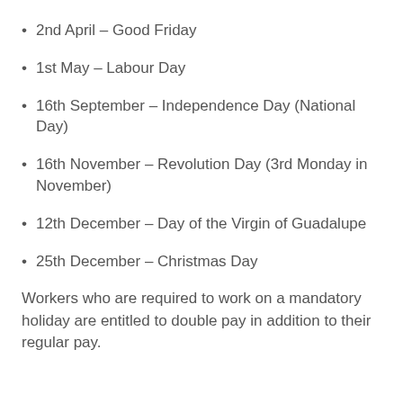2nd April – Good Friday
1st May – Labour Day
16th September – Independence Day (National Day)
16th November – Revolution Day (3rd Monday in November)
12th December – Day of the Virgin of Guadalupe
25th December – Christmas Day
Workers who are required to work on a mandatory holiday are entitled to double pay in addition to their regular pay.